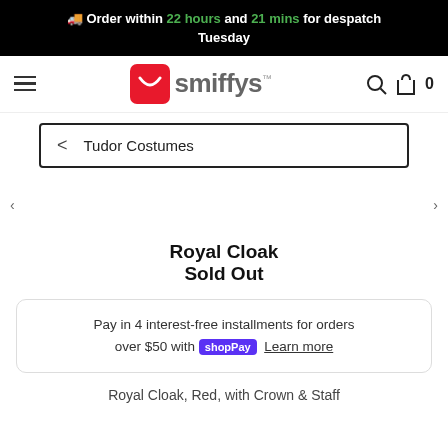🚚 Order within 22 hours and 21 mins for despatch Tuesday
[Figure (logo): Smiffys logo with red rounded square icon and 'smiffys' wordmark]
< Tudor Costumes
Royal Cloak
Sold Out
Pay in 4 interest-free installments for orders over $50 with shop Pay Learn more
Royal Cloak, Red, with Crown & Staff